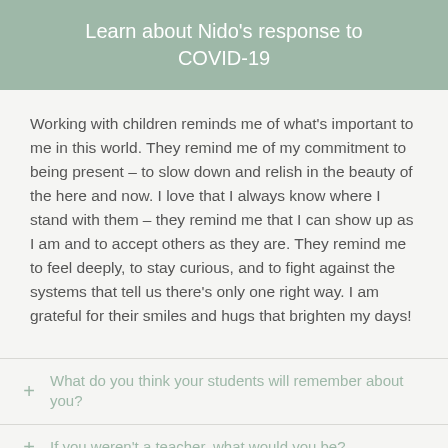Learn about Nido's response to COVID-19
Working with children reminds me of what's important to me in this world. They remind me of my commitment to being present – to slow down and relish in the beauty of the here and now. I love that I always know where I stand with them – they remind me that I can show up as I am and to accept others as they are. They remind me to feel deeply, to stay curious, and to fight against the systems that tell us there's only one right way. I am grateful for their smiles and hugs that brighten my days!
What do you think your students will remember about you?
If you weren't a teacher, what would you be?